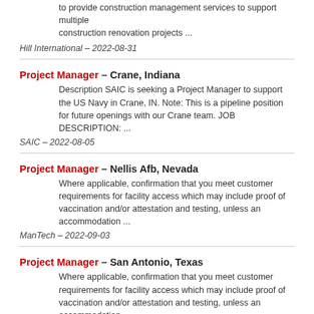to provide construction management services to support multiple construction renovation projects ...
Hill International — 2022-08-31
Project Manager — Crane, Indiana
Description SAIC is seeking a Project Manager to support the US Navy in Crane, IN. Note: This is a pipeline position for future openings with our Crane team. JOB DESCRIPTION: ...
SAIC — 2022-08-05
Project Manager — Nellis Afb, Nevada
Where applicable, confirmation that you meet customer requirements for facility access which may include proof of vaccination and/or attestation and testing, unless an accommodation ...
ManTech — 2022-09-03
Project Manager — San Antonio, Texas
Where applicable, confirmation that you meet customer requirements for facility access which may include proof of vaccination and/or attestation and testing, unless an accommodation ...
ManTech — 2022-09-03